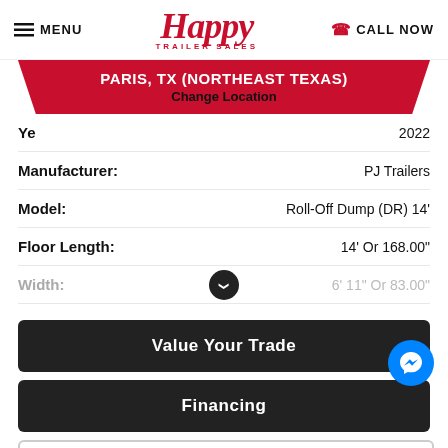MENU | Happy Trailer Sales | CALL NOW
PARIS, TX (NORTHEAST TEXAS)
Change Location
Year: 2022
Manufacturer: PJ Trailers
Model: Roll-Off Dump (DR) 14'
Floor Length: 14' Or 168.00"
Width: 6' 11" Or 83.00"
Value Your Trade
Financing